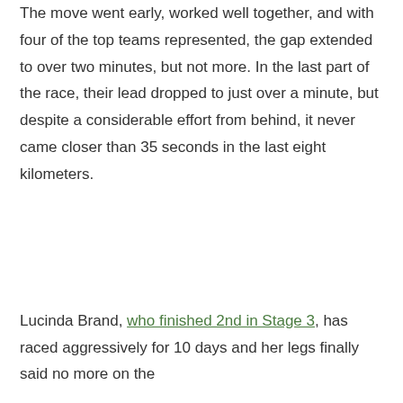The move went early, worked well together, and with four of the top teams represented, the gap extended to over two minutes, but not more. In the last part of the race, their lead dropped to just over a minute, but despite a considerable effort from behind, it never came closer than 35 seconds in the last eight kilometers.
Lucinda Brand, who finished 2nd in Stage 3, has raced aggressively for 10 days and her legs finally said no more on the